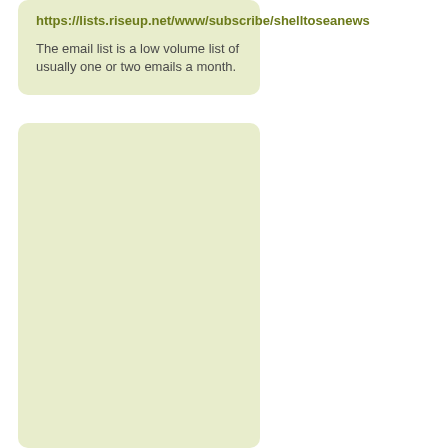https://lists.riseup.net/www/subscribe/shelltoseanews
The email list is a low volume list of usually one or two emails a month.
[Figure (other): Empty light green rounded rectangle box, no content]